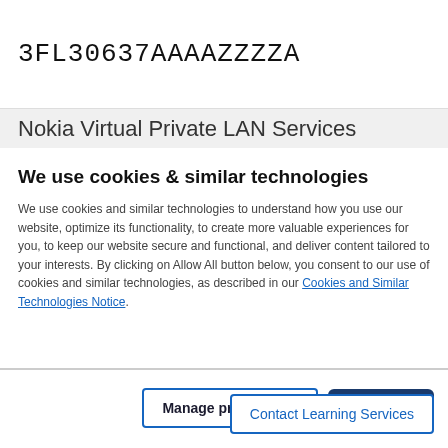3FL30637AAAAZZZZA
Nokia Virtual Private LAN Services
We use cookies & similar technologies
We use cookies and similar technologies to understand how you use our website, optimize its functionality, to create more valuable experiences for you, to keep our website secure and functional, and deliver content tailored to your interests. By clicking on Allow All button below, you consent to our use of cookies and similar technologies, as described in our Cookies and Similar Technologies Notice.
Manage preferences
Accept all
dates
Contact Learning Services